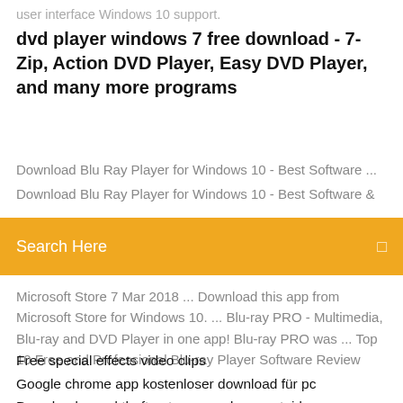user interface Windows 10 support.
dvd player windows 7 free download - 7-Zip, Action DVD Player, Easy DVD Player, and many more programs
Download Blu Ray Player for Windows 10 - Best Software ...
Download Blu Ray Player for Windows 10 - Best Software &
[Figure (screenshot): Orange search bar with white text 'Search Here' and a small square icon on the right]
Microsoft Store 7 Mar 2018 ... Download this app from Microsoft Store for Windows 10. ... Blu-ray PRO - Multimedia, Blu-ray and DVD Player in one app! Blu-ray PRO was ... Top 10 Free and Professional Blu-ray Player Software Review
Free special effects video clips
Google chrome app kostenloser download für pc
Download grand theft auto san andreas aptoide
Hp officejet pro 6380 problem mit dem druckkopf
Mario kart 8 metal mario voice